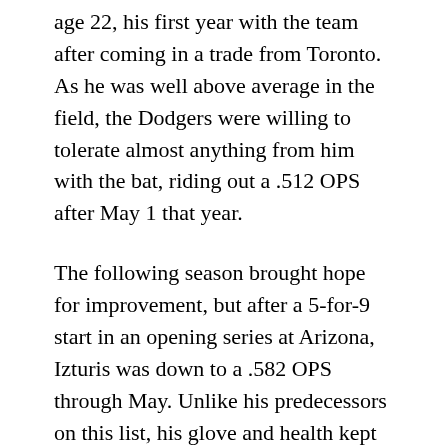age 22, his first year with the team after coming in a trade from Toronto. As he was well above average in the field, the Dodgers were willing to tolerate almost anything from him with the bat, riding out a .512 OPS after May 1 that year.
The following season brought hope for improvement, but after a 5-for-9 start in an opening series at Arizona, Izturis was down to a .582 OPS through May. Unlike his predecessors on this list, his glove and health kept him in the lineup. He played 158 games in 2003 and started 154, even though he barely showed any improvement at the plate, finishing the season at .597.
Two years later, Izturis reversed his fortunes at the plate